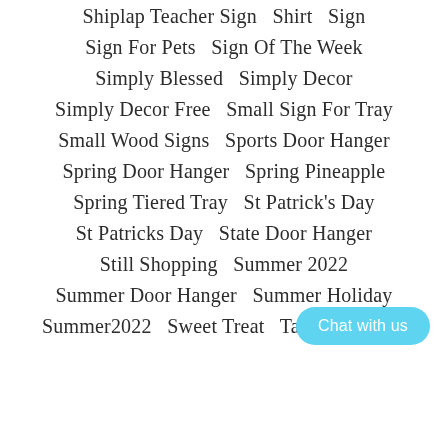Shiplap Teacher Sign   Shirt   Sign
Sign For Pets   Sign Of The Week
Simply Blessed   Simply Decor
Simply Decor Free   Small Sign For Tray
Small Wood Signs   Sports Door Hanger
Spring Door Hanger   Spring Pineapple
Spring Tiered Tray   St Patrick's Day
St Patricks Day   State Door Hanger
Still Shopping   Summer 2022
Summer Door Hanger   Summer Holiday
Summer2022   Sweet Treat   Tabletop Decor